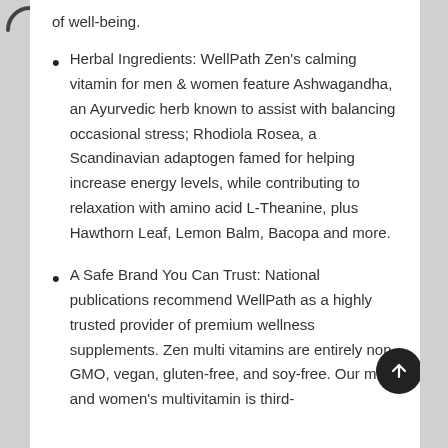of well-being.
Herbal Ingredients: WellPath Zen's calming vitamin for men & women feature Ashwagandha, an Ayurvedic herb known to assist with balancing occasional stress; Rhodiola Rosea, a Scandinavian adaptogen famed for helping increase energy levels, while contributing to relaxation with amino acid L-Theanine, plus Hawthorn Leaf, Lemon Balm, Bacopa and more.
A Safe Brand You Can Trust: National publications recommend WellPath as a highly trusted provider of premium wellness supplements. Zen multi vitamins are entirely non-GMO, vegan, gluten-free, and soy-free. Our men and women's multivitamin is third-